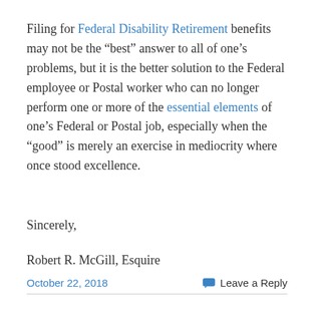Filing for Federal Disability Retirement benefits may not be the “best” answer to all of one’s problems, but it is the better solution to the Federal employee or Postal worker who can no longer perform one or more of the essential elements of one’s Federal or Postal job, especially when the “good” is merely an exercise in mediocrity where once stood excellence.
Sincerely,
Robert R. McGill, Esquire
October 22, 2018   Leave a Reply